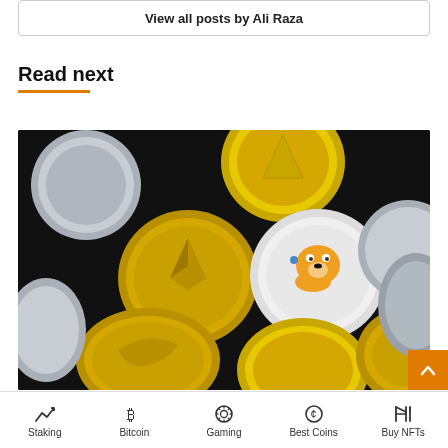View all posts by Ali Raza
Read next
[Figure (photo): A pile of gold and silver cryptocurrency coins on a black background, including coins with various crypto logos.]
Staking | Bitcoin | Gaming | Best Coins | Buy NFTs